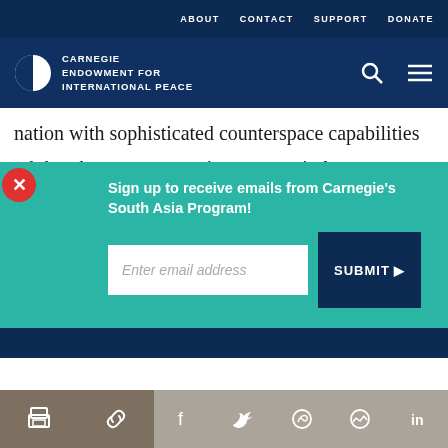ABOUT   CONTACT   SUPPORT   DONATE
[Figure (logo): Carnegie Endowment for International Peace logo with half-circle icon and white text]
nation with sophisticated counterspace capabilities and that these competencies were entirely i... c... D...
Sign up to receive emails from Carnegie's South Asia Program!
Enter email address
SUBMIT ▶
our cookie policy.
Share icons: print, link, facebook, twitter, whatsapp, messenger, linkedin